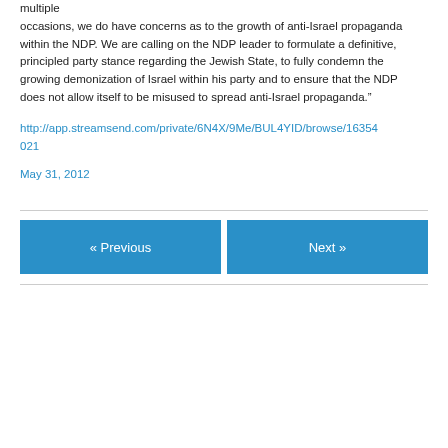multiple occasions, we do have concerns as to the growth of anti-Israel propaganda within the NDP. We are calling on the NDP leader to formulate a definitive, principled party stance regarding the Jewish State, to fully condemn the growing demonization of Israel within his party and to ensure that the NDP does not allow itself to be misused to spread anti-Israel propaganda.”
http://app.streamsend.com/private/6N4X/9Me/BUL4YID/browse/16354021
May 31, 2012
« Previous
Next »